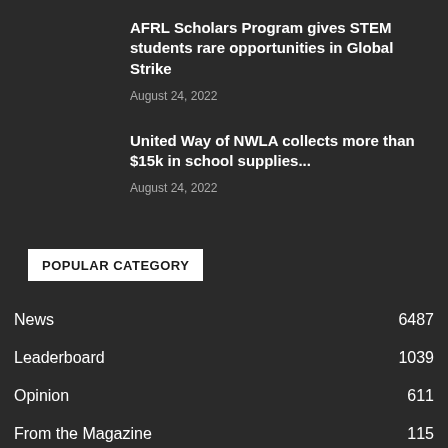AFRL Scholars Program gives STEM students rare opportunities in Global Strike
August 24, 2022
United Way of NWLA collects more than $15k in school supplies...
August 24, 2022
POPULAR CATEGORY
News 6487
Leaderboard 1039
Opinion 611
From the Magazine 115
BIZ Columnists 41
The 71055 34